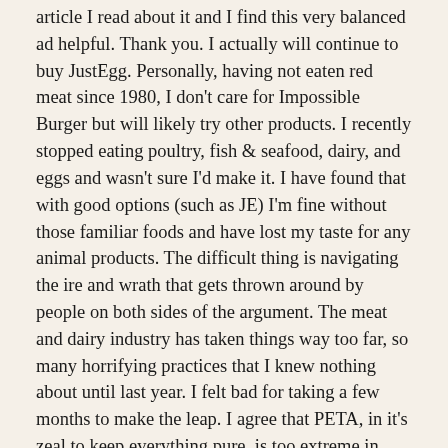article I read about it and I find this very balanced ad helpful. Thank you. I actually will continue to buy JustEgg. Personally, having not eaten red meat since 1980, I don't care for Impossible Burger but will likely try other products. I recently stopped eating poultry, fish & seafood, dairy, and eggs and wasn't sure I'd make it. I have found that with good options (such as JE) I'm fine without those familiar foods and have lost my taste for any animal products. The difficult thing is navigating the ire and wrath that gets thrown around by people on both sides of the argument. The meat and dairy industry has taken things way too far, so many horrifying practices that I knew nothing about until last year. I felt bad for taking a few months to make the leap. I agree that PETA, in it's zeal to keep everything pure, is too extreme in many cases. The reality is that most of the world is